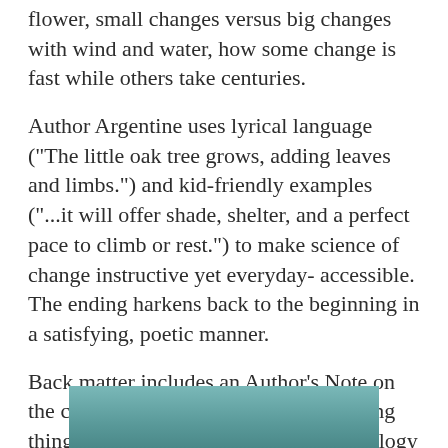flower, small changes versus big changes with wind and water, how some change is fast while others take centuries.
Author Argentine uses lyrical language ("The little oak tree grows, adding leaves and limbs.") and kid-friendly examples ("...it will offer shade, shelter, and a perfect pace to climb or rest.") to make science of change instructive yet everyday- accessible. The ending harkens back to the beginning in a satisfying, poetic manner.
Back matter includes an Author's Note on the connectedness of living and nonliving things that invites readers to ponder ecology and our place in it. Educators will appreciate further back matter that weaves geology, botany, biology, chemistry, and physics together. Night Becomes Day will hook many audiences for a variety of reading purposes.
[Figure (photo): Partial image at bottom of page showing a teal/blue-green background, appears to be a book cover or photograph cropped at the page edge.]